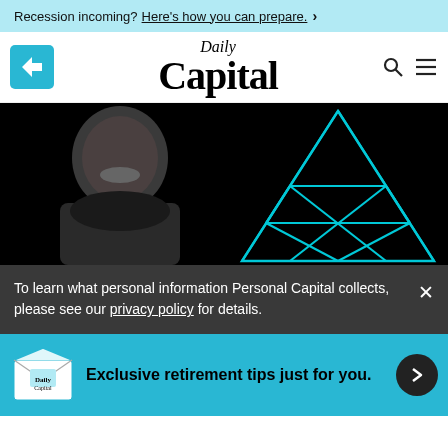Recession incoming? Here's how you can prepare. >
[Figure (logo): Daily Capital logo with Personal Capital app icon on left, search and menu icons on right]
[Figure (photo): Screenshot of Daily Capital website hero image showing a smiling man with a cyan geometric triangle outline graphic on black background]
To learn what personal information Personal Capital collects, please see our privacy policy for details.
Exclusive retirement tips just for you.